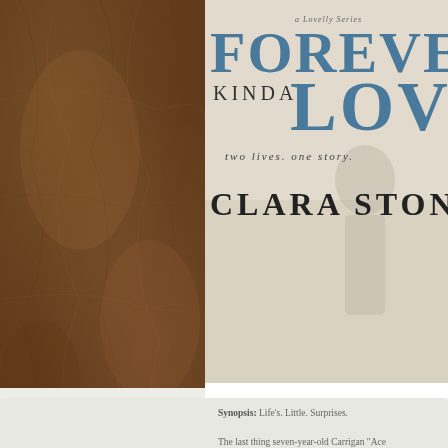[Figure (illustration): Book cover of 'Forever Kinda Love (Lovelly, #1)' by Clara Stone. Shows text 'a Lovelly Series', 'FOREVER', 'KINDA LOVE', 'two lives. one story.', 'CLARA STONE' on a light background with a person figure.]
Title: Forever Kinda Love (Lovelly, #1)
Author: Clara Stone
Genre: Mature YA Contemporary Romance
Publisher: 246 Pages (August 15th, 2014)
Add to: Goodreads
Order here: Amazon, Barnes and Noble, Amazon UK
Synopsis: Life’s. Little. Surprises.

The last thing seven-year-old Carrigan "Ace" expected was an eight-year-old Heath Lovelly walking into her life the day her mother died. From that moment on, Heath